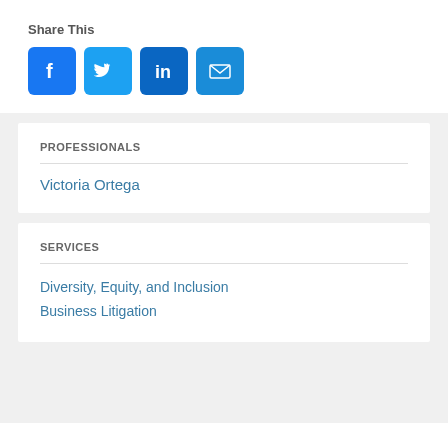Share This
[Figure (infographic): Social sharing icons: Facebook, Twitter, LinkedIn, Email]
PROFESSIONALS
Victoria Ortega
SERVICES
Diversity, Equity, and Inclusion
Business Litigation